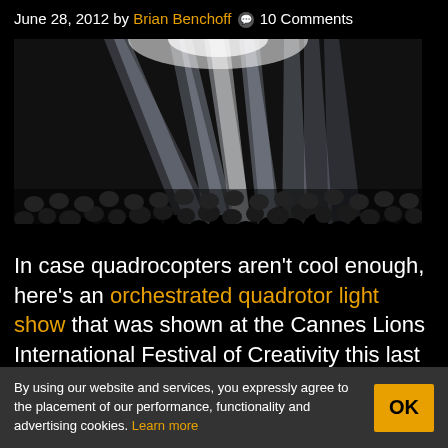June 28, 2012 by Brian Benchoff 💬 10 Comments
[Figure (photo): Concert photo showing bright white stage lights beaming upward over a large crowd of silhouettes at a live music event]
In case quadrocopters aren't cool enough, here's an orchestrated quadrotor light show that was shown at the Cannes Lions International Festival of Creativity this last
By using our website and services, you expressly agree to the placement of our performance, functionality and advertising cookies. Learn more